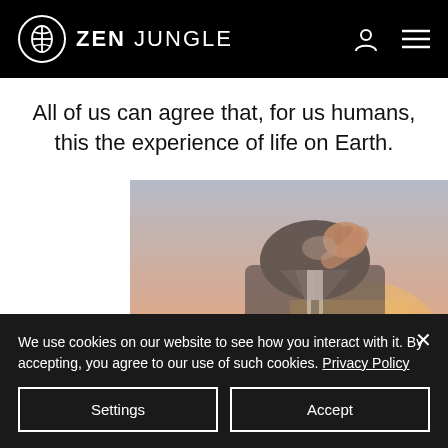ZEN JUNGLE
All of us can agree that, for us humans, this the experience of life on Earth.
[Figure (photo): Double exposure photo of a businessman in a suit with a cityscape of tall buildings overlaid, warm orange/sunset tones]
We use cookies on our website to see how you interact with it. By accepting, you agree to our use of such cookies. Privacy Policy
Settings
Accept